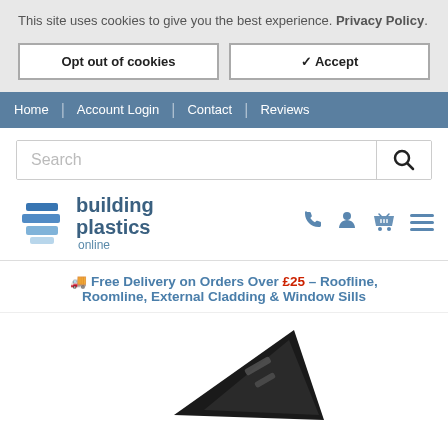This site uses cookies to give you the best experience. Privacy Policy.
Opt out of cookies
✔ Accept
Home | Account Login | Contact | Reviews
[Figure (screenshot): Search bar with magnifying glass icon]
[Figure (logo): Building Plastics Online logo with stacked blue squares and brand name]
🚚 Free Delivery on Orders Over £25 – Roofline, Roomline, External Cladding & Window Sills
[Figure (photo): Partial view of a dark/black plastic building product, angled triangular shape]